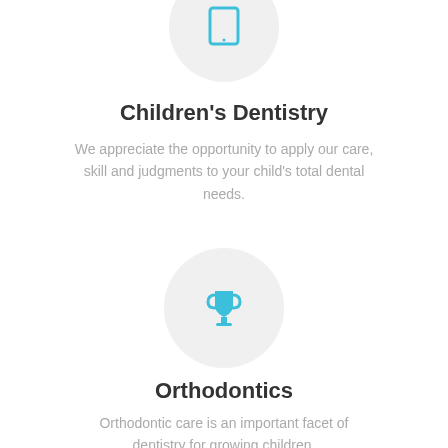[Figure (illustration): Tablet/iPad icon in cyan/teal color inside a light gray circle, partially visible at the top]
Children's Dentistry
We appreciate the opportunity to apply our care, skill and judgments to your child's total dental needs.
[Figure (illustration): Trophy/cup icon in cyan/teal color inside a light gray circle]
Orthodontics
Orthodontic care is an important facet of dentistry for growing children.